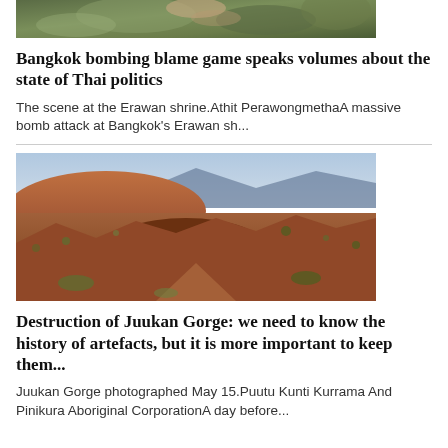[Figure (photo): Partial top image showing camouflage or foliage texture, cropped at top of page]
Bangkok bombing blame game speaks volumes about the state of Thai politics
The scene at the Erawan shrine.Athit PerawongmethaA massive bomb attack at Bangkok's Erawan sh...
[Figure (photo): Juukan Gorge landscape photographed May 15 — red rocky terrain with sparse vegetation and eroded hillside]
Destruction of Juukan Gorge: we need to know the history of artefacts, but it is more important to keep them...
Juukan Gorge photographed May 15.Puutu Kunti Kurrama And Pinikura Aboriginal CorporationA day before...